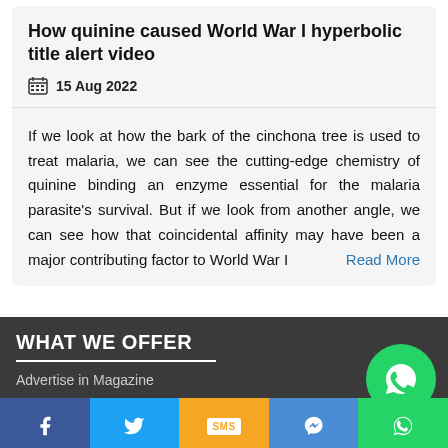How quinine caused World War I hyperbolic title alert video
15 Aug 2022
If we look at how the bark of the cinchona tree is used to treat malaria, we can see the cutting-edge chemistry of quinine binding an enzyme essential for the malaria parasite's survival. But if we look from another angle, we can see how that coincidental affinity may have been a major contributing factor to World War I
WHAT WE OFFER
Advertise in Magazine